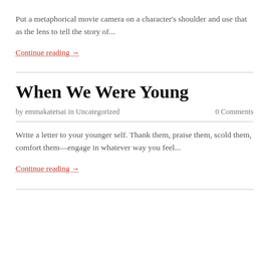Put a metaphorical movie camera on a character's shoulder and use that as the lens to tell the story of...
Continue reading →
When We Were Young
by emmakatetsai in Uncategorized   0 Comments
Write a letter to your younger self. Thank them, praise them, scold them, comfort them—engage in whatever way you feel...
Continue reading →